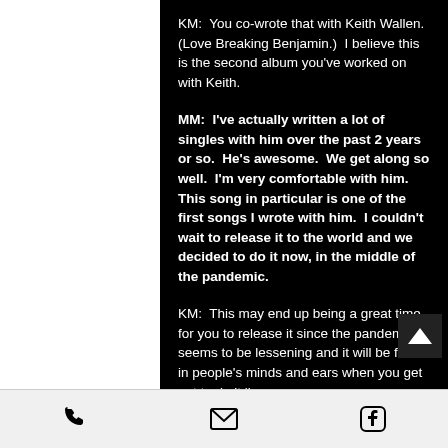KM:  You co-wrote that with Keith Wallen. (Love Breaking Benjamin.)  I believe this is the second album you've worked on with Keith.
MM:  I've actually written a lot of singles with him over the past 2 years or so.  He's awesome.  We get along so well.  I'm very comfortable with him.  This song in particular is one of the first songs I wrote with him.  I couldn't wait to release it to the world and we decided to do it now, in the middle of the pandemic.
KM:  This may end up being a great time for you to release it since the pandemic seems to be lessening and it will be fresh in people's minds and ears when you get out to do it live.
MM:  That's true.  It's strange how things sometimes work out, come
[phone icon] [email icon] [facebook icon]